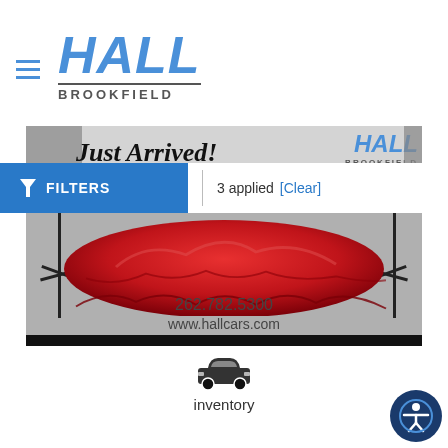[Figure (logo): Hall Brookfield dealership logo with blue italic HALL text and BROOKFIELD subtitle]
[Figure (photo): Hall Brookfield 'Just Arrived!' banner advertisement with partial car draped in red cloth, phone number 262.782.5300 and website www.hallcars.com]
FILTERS | 3 applied [Clear]
[Figure (illustration): Car silhouette icon above the word 'inventory']
inventory